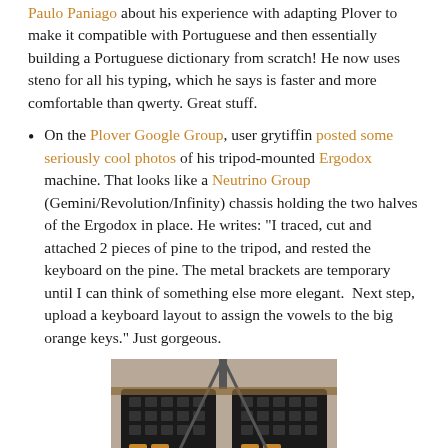Paulo Paniago about his experience with adapting Plover to make it compatible with Portuguese and then essentially building a Portuguese dictionary from scratch! He now uses steno for all his typing, which he says is faster and more comfortable than qwerty. Great stuff.
On the Plover Google Group, user grytiffin posted some seriously cool photos of his tripod-mounted Ergodox machine. That looks like a Neutrino Group (Gemini/Revolution/Infinity) chassis holding the two halves of the Ergodox in place. He writes: "I traced, cut and attached 2 pieces of pine to the tripod, and rested the keyboard on the pine. The metal brackets are temporary until I can think of something else more elegant.  Next step, upload a keyboard layout to assign the vowels to the big orange keys." Just gorgeous.
[Figure (photo): Photo of a tripod-mounted Ergodox keyboard with orange keys, resting on pine boards attached to a tripod, viewed from above on a tiled floor.]